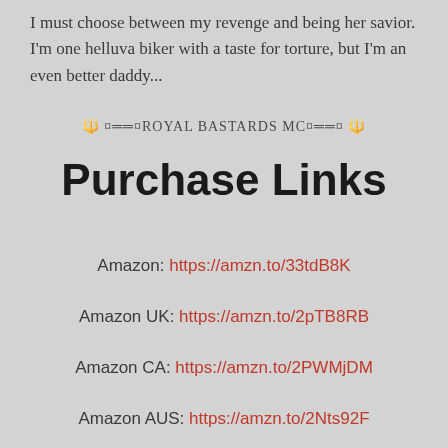I must choose between my revenge and being her savior. I'm one helluva biker with a taste for torture, but I'm an even better daddy...
🔱 ¤══¤ROYAL BASTARDS MC¤══¤ 🔱
Purchase Links
Amazon: https://amzn.to/33tdB8K
Amazon UK:  https://amzn.to/2pTB8RB
Amazon CA:  https://amzn.to/2PWMjDM
Amazon AUS:  https://amzn.to/2Nts92F